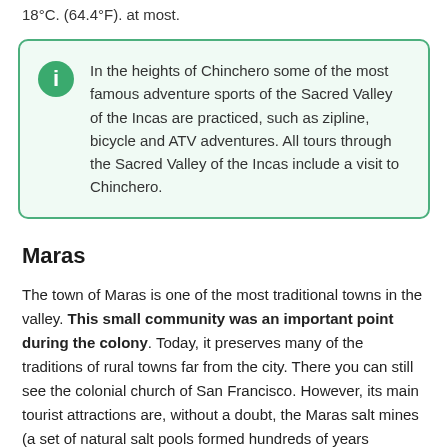18°C. (64.4°F). at most.
In the heights of Chinchero some of the most famous adventure sports of the Sacred Valley of the Incas are practiced, such as zipline, bicycle and ATV adventures. All tours through the Sacred Valley of the Incas include a visit to Chinchero.
Maras
The town of Maras is one of the most traditional towns in the valley. This small community was an important point during the colony. Today, it preserves many of the traditions of rural towns far from the city. There you can still see the colonial church of San Francisco. However, its main tourist attractions are, without a doubt, the Maras salt mines (a set of natural salt pools formed hundreds of years